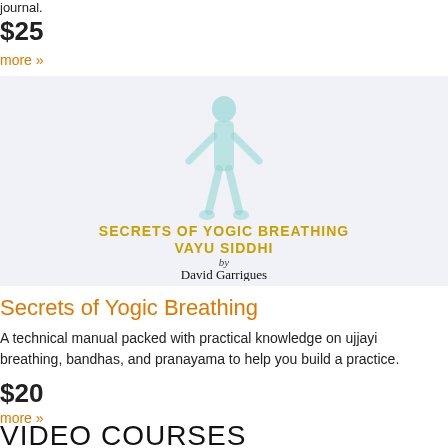journal.
$25
more »
[Figure (illustration): Book cover for 'Secrets of Yogic Breathing Vayu Siddhi by David Garrigues' showing a teal figure in a yoga pose with golden text on a light blue background.]
Secrets of Yogic Breathing
A technical manual packed with practical knowledge on ujjayi breathing, bandhas, and pranayama to help you build a practice.
$20
more »
VIDEO COURSES